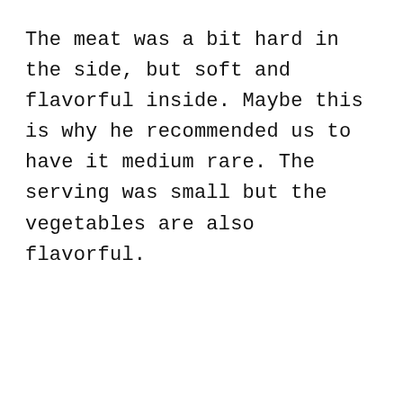The meat was a bit hard in the side, but soft and flavorful inside. Maybe this is why he recommended us to have it medium rare. The serving was small but the vegetables are also flavorful.